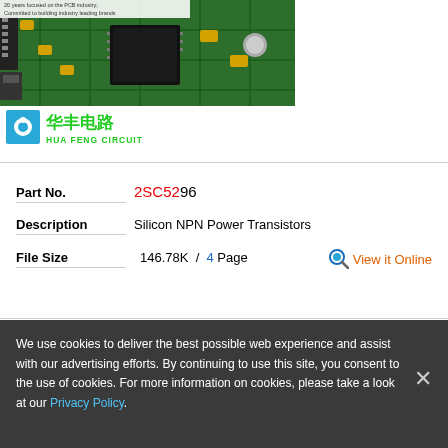[Figure (photo): PCB circuit board photo with Hua Feng Circuit logo overlay showing Chinese text 华丰电路 and HUA FENG CIRCUIT branding with a blue circular logo icon. Top text reads '20 years focused on the PCB industry; Committed to building industry leading brands']
Part No.   2SC5296
Description   Silicon NPN Power Transistors
File Size   146.78K  /  4 Page   View it Online
We use cookies to deliver the best possible web experience and assist with our advertising efforts. By continuing to use this site, you consent to the use of cookies. For more information on cookies, please take a look at our Privacy Policy.